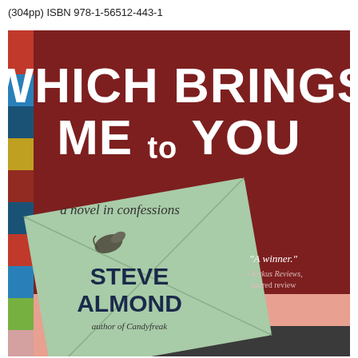(304pp) ISBN 978-1-56512-443-1
[Figure (illustration): Book cover of 'Which Brings Me to You: a novel in confessions' by Steve Almond, author of Candyfreak. Dark red background with large white distressed text title. A light green envelope is shown in the center-lower portion. A small bird/letter illustration appears on the envelope. Quote: 'A winner.' —Kirkus Reviews, starred review. Colorful vertical stripes on left side. A gray/dark bar at bottom.]